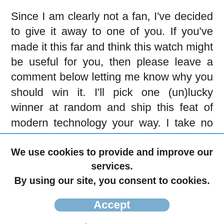Since I am clearly not a fan, I've decided to give it away to one of you. If you've made it this far and think this watch might be useful for you, then please leave a comment below letting me know why you should win it. I'll pick one (un)lucky winner at random and ship this feat of modern technology your way. I take no responsibility, however, for the watch or it's poor performance NOR do I know if it has a warranty of any kind since I'm now giving it away. Once it leaves here and gets to you, it's your problem. I will send it in the
We use cookies to provide and improve our services. By using our site, you consent to cookies.
Accept
Learn more